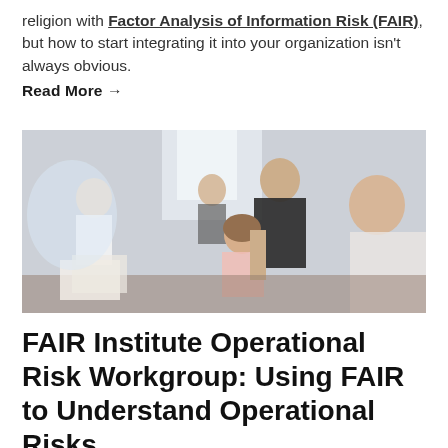religion with Factor Analysis of Information Risk (FAIR), but how to start integrating it into your organization isn't always obvious.
Read More →
[Figure (photo): Office scene with several professionals gathered around a computer screen; one person standing and leaning over, two seated colleagues looking at a monitor, another person in background.]
FAIR Institute Operational Risk Workgroup: Using FAIR to Understand Operational Risks